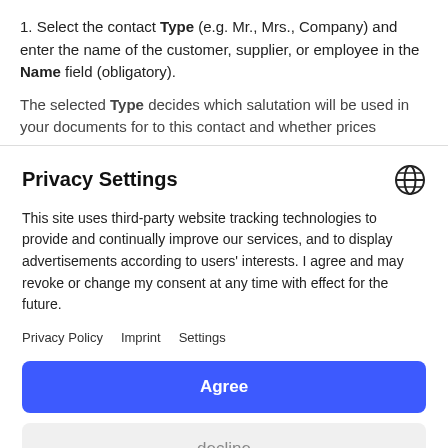1. Select the contact Type (e.g. Mr., Mrs., Company) and enter the name of the customer, supplier, or employee in the Name field (obligatory).
The selected Type decides which salutation will be used in your documents for to this contact and whether prices
Privacy Settings
This site uses third-party website tracking technologies to provide and continually improve our services, and to display advertisements according to users' interests. I agree and may revoke or change my consent at any time with effect for the future.
Privacy Policy   Imprint   Settings
Agree
decline
Powered by Usercentrics Consent Management